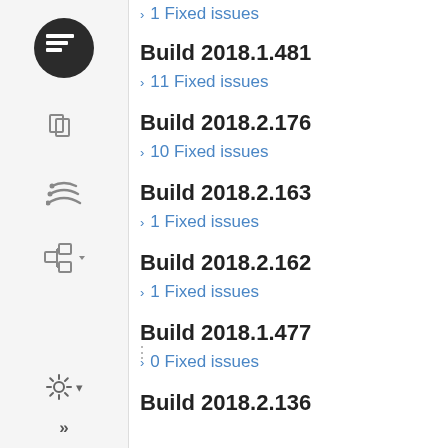› 1 Fixed issues
Build 2018.1.481
› 11 Fixed issues
Build 2018.2.176
› 10 Fixed issues
Build 2018.2.163
› 1 Fixed issues
Build 2018.2.162
› 1 Fixed issues
Build 2018.1.477
› 0 Fixed issues
Build 2018.2.136